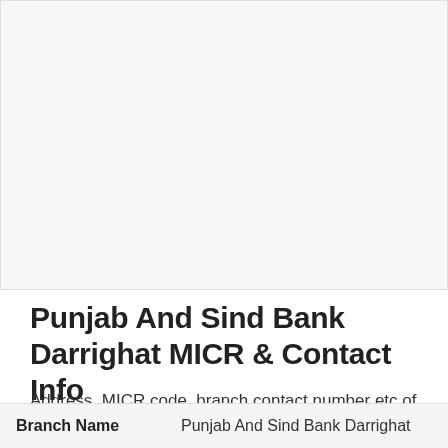[Figure (other): Placeholder image area at top of page, light gray background]
Punjab And Sind Bank Darrighat MICR & Contact Info
Address, MICR code, branch contact number etc of Punjab And Sind Bank Darrighat branch is given below. You may contact the branch or the Customer Care number of the bank information relating to your Punjab And Sind Bank account.
| Branch Name |  |
| --- | --- |
| Branch Name | Punjab And Sind Bank Darrighat |